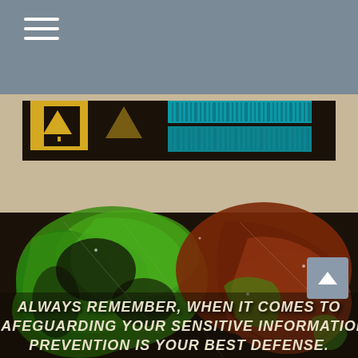[Figure (illustration): A webpage screenshot showing a navigation bar with hamburger menu icon at top in slate-blue/grey color, and below it a vintage-style poster image with dark background featuring green and brown paint splashes/textures suggesting a globe or earth. At the bottom of the poster, bold italic uppercase white text reads: ALWAYS REMEMBER, WHEN IT COMES TO SAFEGUARDING YOUR SENSITIVE INFORMATION PREVENTION IS YOUR BEST DEFENSE. DON'T WAIT FOR THIEVES TO STRIKE! A scroll-up button with an upward arrow appears at the bottom right.]
ALWAYS REMEMBER, WHEN IT COMES TO SAFEGUARDING YOUR SENSITIVE INFORMATION PREVENTION IS YOUR BEST DEFENSE. DON'T WAIT FOR THIEVES TO STRIKE!